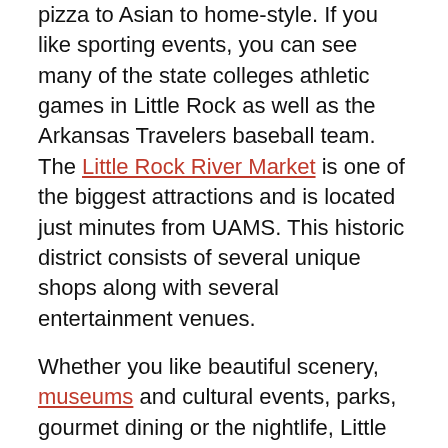pizza to Asian to home-style. If you like sporting events, you can see many of the state colleges athletic games in Little Rock as well as the Arkansas Travelers baseball team. The Little Rock River Market is one of the biggest attractions and is located just minutes from UAMS. This historic district consists of several unique shops along with several entertainment venues.
Whether you like beautiful scenery, museums and cultural events, parks, gourmet dining or the nightlife, Little Rock has it all. And you can forget about the traffic congestion and long commutes to work that interfere with the quality of life in many cities.
Also, Little Rock offers affordable housing in